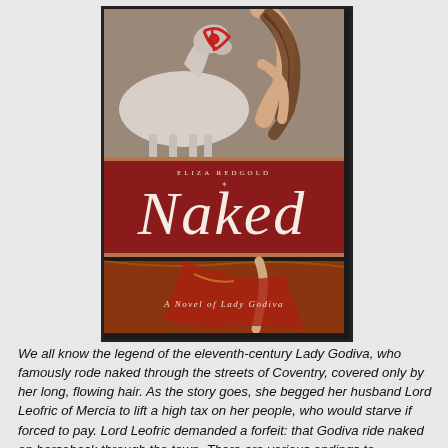[Figure (illustration): Book cover of 'Naked: A Novel of Lady Godiva' by Eliza Redgold. A dark-bordered cover with a classical painting showing a nude woman with long hair beside a white horse with red bridle. The lower portion has a deep red background with the author name 'ELIZA REDGOLD' in white at the top, large stylized title 'NAKED' in white serif font in the center, and subtitle 'A Novel of Lady Godiva' in smaller white text at the bottom.]
We all know the legend of the eleventh-century Lady Godiva, who famously rode naked through the streets of Coventry, covered only by her long, flowing hair. As the story goes, she begged her husband Lord Leofric of Mercia to lift a high tax on her people, who would starve if forced to pay. Lord Leofric demanded a forfeit: that Godiva ride naked on horseback through the town. There are various endings to